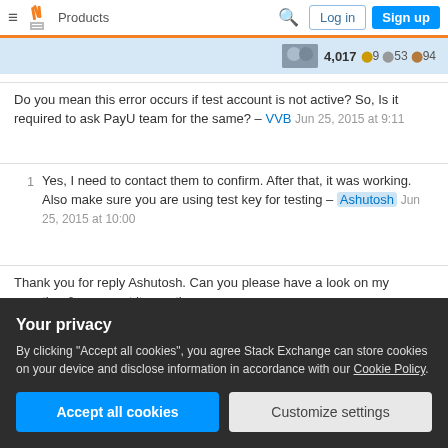≡  [Stack Overflow logo]  Products  🔍  Log in  Sign up
4,017  ●9  ●53  ●94
Do you mean this error occurs if test account is not active? So, Is it required to ask PayU team for the same? – VVB  Jun 25, 2015 at 9:11
1  Yes, I need to contact them to confirm. After that, it was working. Also make sure you are using test key for testing – Ashutosh  Jun 25, 2015 at 10:00
Thank you for reply Ashutosh. Can you please have a look on my question & comment it over there : stackoverflow.com/questions/31046696/… – VVB  Jun 25, 2015 at 10:05
Your privacy
By clicking "Accept all cookies", you agree Stack Exchange can store cookies on your device and disclose information in accordance with our Cookie Policy.
Accept all cookies    Customize settings
at 11:12